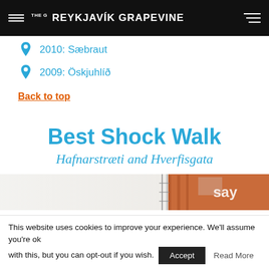THE G REYKJAVÍK GRAPEVINE
2010: Sæbraut
2009: Öskjuhlíð
Back to top
Best Shock Walk
Hafnarstræti and Hverfisgata
[Figure (photo): Partial view of a building exterior with orange/red facade and signage]
This website uses cookies to improve your experience. We'll assume you're ok with this, but you can opt-out if you wish.